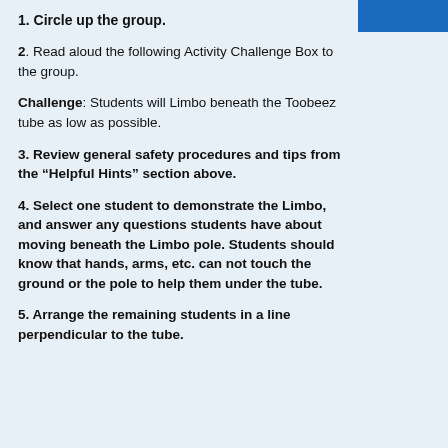1. Circle up the group.
2. Read aloud the following Activity Challenge Box to the group.
Challenge: Students will Limbo beneath the Toobeez tube as low as possible.
3. Review general safety procedures and tips from the “Helpful Hints” section above.
4. Select one student to demonstrate the Limbo, and answer any questions students have about moving beneath the Limbo pole. Students should know that hands, arms, etc. can not touch the ground or the pole to help them under the tube.
5. Arrange the remaining students in a line perpendicular to the tube.